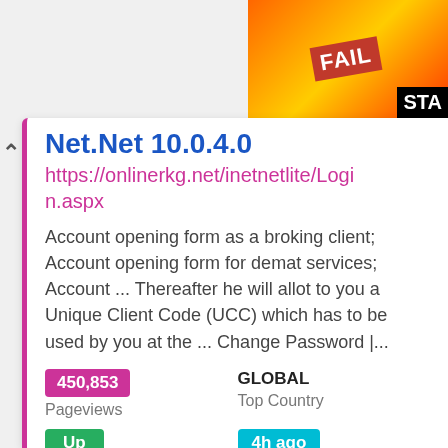[Figure (screenshot): Top area with advertisement banner showing FAIL text with cartoon and STA text on the right side]
Net.Net 10.0.4.0
https://onlinerkg.net/inetnetlite/Login.aspx
Account opening form as a broking client; Account opening form for demat services; Account ... Thereafter he will allot to you a Unique Client Code (UCC) which has to be used by you at the ... Change Password |...
450,853
Pageviews
GLOBAL
Top Country
Up
Site Status
4h ago
Last Pinged